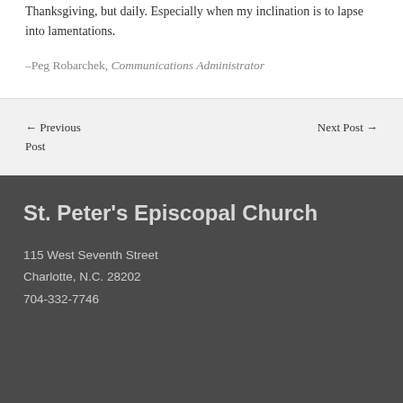Thanksgiving, but daily. Especially when my inclination is to lapse into lamentations.
–Peg Robarchek, Communications Administrator
← Previous Post
Next Post →
St. Peter's Episcopal Church
115 West Seventh Street
Charlotte, N.C. 28202
704-332-7746